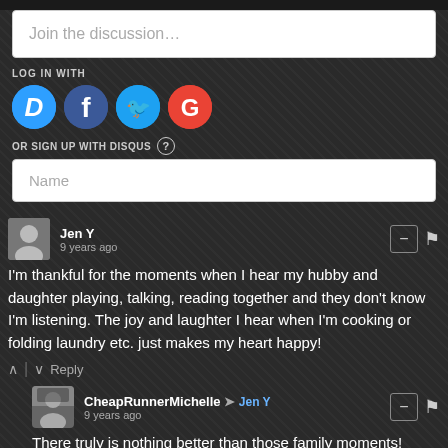Join the discussion…
LOG IN WITH
[Figure (infographic): Social login icons: Disqus (blue circle with D), Facebook (blue circle with f), Twitter (light blue circle with bird), Google (red circle with G)]
OR SIGN UP WITH DISQUS ?
Name
Jen Y
9 years ago
I'm thankful for the moments when I hear my hubby and daughter playing, talking, reading together and they don't know I'm listening. The joy and laughter I hear when I'm cooking or folding laundry etc. just makes my heart happy!
Reply
CheapRunnerMichelle → Jen Y
9 years ago
There truly is nothing better than those family moments!